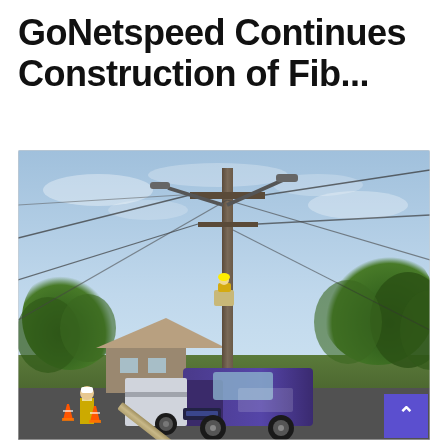GoNetspeed Continues Construction of Fib...
[Figure (photo): A utility bucket truck with a worker elevated in the boom bucket working on a utility pole with overhead wires. A ground worker in a yellow safety vest stands nearby. Orange traffic cones are visible on the street. Trees and a house are in the background under a partly cloudy sky.]